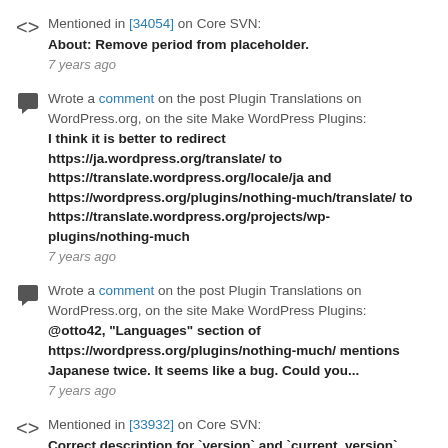Mentioned in [34054] on Core SVN:
About: Remove period from placeholder.
7 years ago
Wrote a comment on the post Plugin Translations on WordPress.org, on the site Make WordPress Plugins:
I think it is better to redirect https://ja.wordpress.org/translate/ to https://translate.wordpress.org/locale/ja and https://wordpress.org/plugins/nothing-much/translate/ to https://translate.wordpress.org/projects/wp-plugins/nothing-much
7 years ago
Wrote a comment on the post Plugin Translations on WordPress.org, on the site Make WordPress Plugins:
@otto42, "Languages" section of https://wordpress.org/plugins/nothing-much/ mentions Japanese twice. It seems like a bug. Could you...
7 years ago
Mentioned in [33932] on Core SVN:
Correct description for `version` and `current_version`